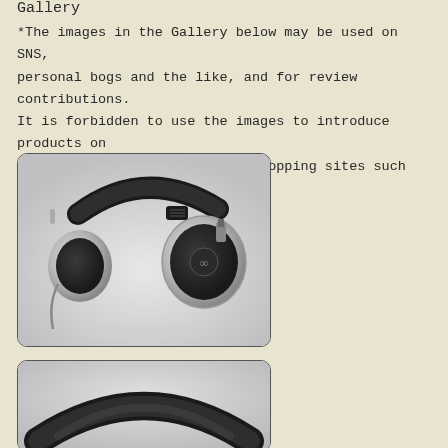Gallery
*The images in the Gallery below may be used on SNS, personal bogs and the like, and for review contributions. It is forbidden to use the images to introduce products on internet auction sites or on shopping sites such as e-bay.
[Figure (photo): Professional over-ear headphones (silver/black) photographed from the side on a light background, showing the ear cup, headband, and adjustment mechanism.]
[Figure (photo): Close-up of headphones showing the top headband portion, partially cropped at bottom of page.]